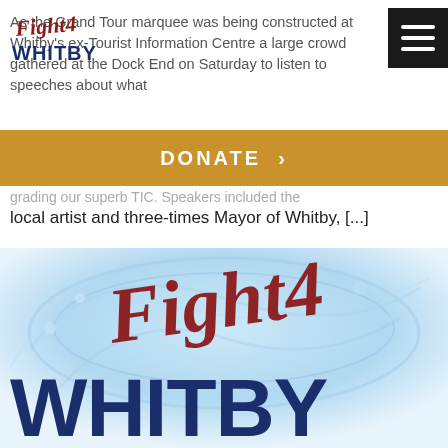[Figure (logo): Fight4Whitby logo top left — script 'Fight4' in dark red over block 'WHITBY' in navy blue]
As the Grand Tour marquee was being constructed at Whitby's ex-Tourist Information Centre a large crowd gathered at the Dock End on Saturday to listen to speeches about what
DONATE >
grading our superb TIC. Speakers included the local artist and three-times Mayor of Whitby, [...]
[Figure (logo): Large Fight4Whitby logo — italic script 'Fight4' in dark red with water splash background, bold block 'WHITBY' in navy blue below]